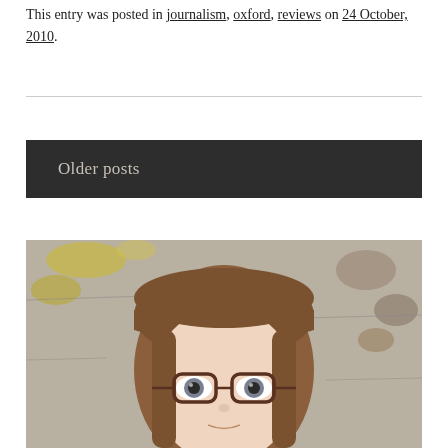This entry was posted in journalism, oxford, reviews on 24 October, 2010.
Older posts
[Figure (photo): Portrait photo of a woman with brown bangs and glasses, standing in front of a stone wall with lichen.]